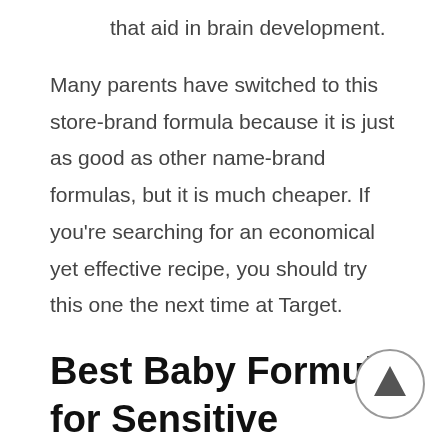that aid in brain development.
Many parents have switched to this store-brand formula because it is just as good as other name-brand formulas, but it is much cheaper. If you’re searching for an economical yet effective recipe, you should try this one the next time at Target.
Best Baby Formula for Sensitive Tummies
As all new parents know, babies cry. This is because they are hungry, tired, or overstimulated. It is normal for them to cry to get their needs met. But what if your